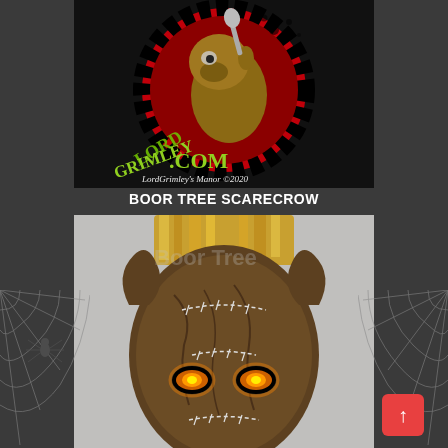[Figure (logo): LordGrimley.com logo with a grotesque creature on a black and red background, with text 'LordGrimley's Manor ©2020']
BOOR TREE SCARECROW
[Figure (photo): A scarecrow Halloween mask with glowing orange eyes, stitched burlap texture, brown bark-like skin, and straw hair]
[Figure (illustration): Spider web decoration on the right side of the page background]